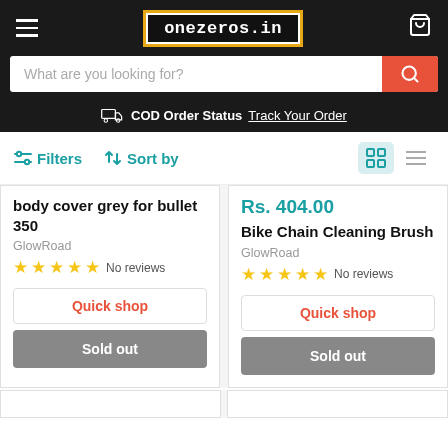onezeros.in — navigation header with hamburger menu, logo, and cart icon
What are you looking for?
COD Order Status Track Your Order
Filters   Sort by
body cover grey for bullet 350
GlowRoad
☆☆☆☆☆ No reviews
Quick shop
Sold out
Rs. 404.00
Bike Chain Cleaning Brush
GlowRoad
☆☆☆☆☆ No reviews
Quick shop
Sold out